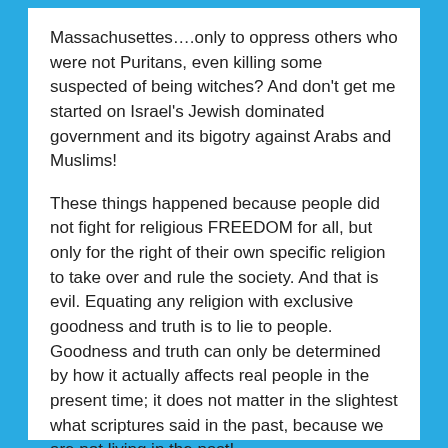Massachusettes….only to oppress others who were not Puritans, even killing some suspected of being witches? And don’t get me started on Israel’s Jewish dominated government and its bigotry against Arabs and Muslims!
These things happened because people did not fight for religious FREEDOM for all, but only for the right of their own specific religion to take over and rule the society. And that is evil. Equating any religion with exclusive goodness and truth is to lie to people. Goodness and truth can only be determined by how it actually affects real people in the present time; it does not matter in the slightest what scriptures said in the past, because we are not living in the past!